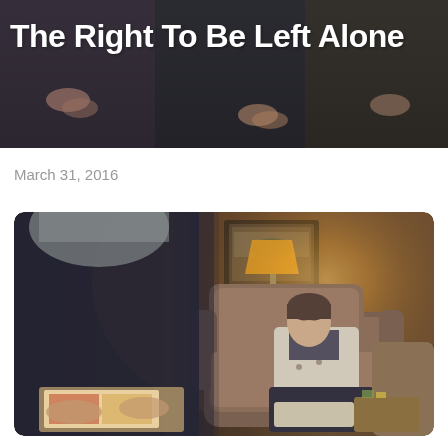[Figure (photo): Hero banner photo showing three people from waist down/partially cropped, with dark background. A large white bold title text overlaid: 'The Right To Be Left Alone']
The Right To Be Left Alone
March 31, 2016
[Figure (photo): Indoor living room scene in warm amber lighting. In the foreground left, a man with gray hair in a dark shirt is blurred, reading a magazine/pamphlet. In the background, a woman sits in a large recliner armchair, looking down, wearing a light cardigan with a pattern. Behind her is a framed picture on the wall, a glowing lamp, and a mirror/window reflecting the room.]